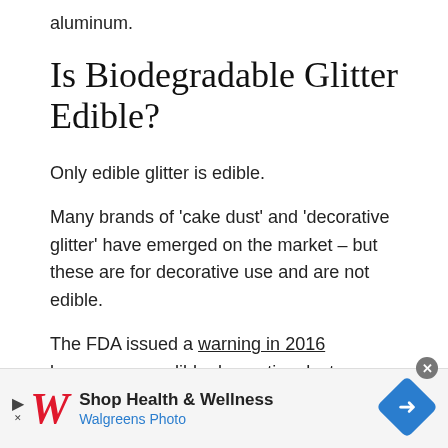aluminum.
Is Biodegradable Glitter Edible?
Only edible glitter is edible.
Many brands of ‘cake dust’ and ‘decorative glitter’ have emerged on the market – but these are for decorative use and are not edible.
The FDA issued a warning in 2016 because non-edible decorative dust was being promoted as a
[Figure (other): Walgreens advertisement banner: Shop Health & Wellness, Walgreens Photo, with Walgreens logo and navigation/map icon]